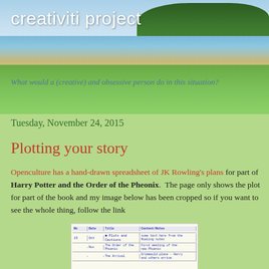[Figure (photo): Header photo of a beach/coastal scene with blue sky, green trees on the right, water in the middle distance, sandy beach, and tall green grass in the foreground. The blog title 'creativiti project' is overlaid in white text at the top left.]
creativiti project
What would a (creative) and obsessive person do in this situation?
Tuesday, November 24, 2015
Plotting your story
Openculture has a hand-drawn spreadsheet of JK Rowling's plans for part of Harry Potter and the Order of the Pheonix.  The page only shows the plot for part of the book and my image below has been cropped so if you want to see the whole thing, follow the link
[Figure (photo): A hand-drawn spreadsheet/planning document by JK Rowling for Harry Potter and the Order of the Phoenix. Shows a table with handwritten notes in blue ink on lined paper, with chapter numbers and plot points.]